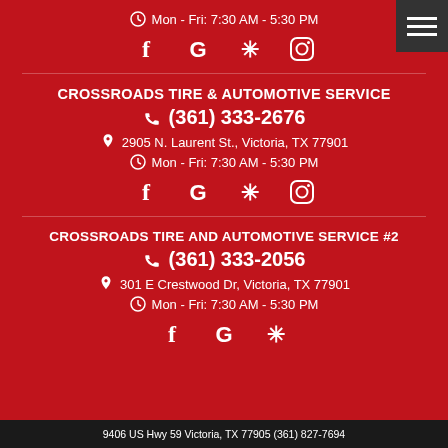Mon - Fri: 7:30 AM - 5:30 PM
[Figure (other): Social media icons row: Facebook, Google, Yelp, Instagram]
CROSSROADS TIRE & AUTOMOTIVE SERVICE
(361) 333-2676
2905 N. Laurent St., Victoria, TX 77901
Mon - Fri: 7:30 AM - 5:30 PM
[Figure (other): Social media icons row: Facebook, Google, Yelp, Instagram]
CROSSROADS TIRE AND AUTOMOTIVE SERVICE #2
(361) 333-2056
301 E Crestwood Dr, Victoria, TX 77901
Mon - Fri: 7:30 AM - 5:30 PM
[Figure (other): Social media icons row: Facebook, Google, Yelp]
9406 US Hwy 59 Victoria, TX 77905 (361) 827-7694